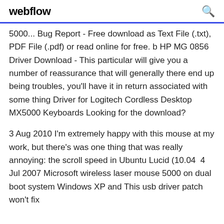webflow
5000... Bug Report - Free download as Text File (.txt), PDF File (.pdf) or read online for free. b HP MG 0856 Driver Download - This particular will give you a number of reassurance that will generally there end up being troubles, you'll have it in return associated with some thing Driver for Logitech Cordless Desktop MX5000 Keyboards Looking for the download?
3 Aug 2010 I'm extremely happy with this mouse at my work, but there's was one thing that was really annoying: the scroll speed in Ubuntu Lucid (10.04  4 Jul 2007 Microsoft wireless laser mouse 5000 on dual boot system Windows XP and This usb driver patch won't fix